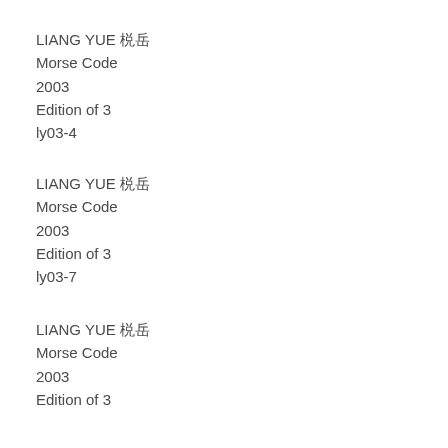LIANG YUE 梁岳
Morse Code
2003
Edition of 3
ly03-4
LIANG YUE 梁岳
Morse Code
2003
Edition of 3
ly03-7
LIANG YUE 梁岳
Morse Code
2003
Edition of 3